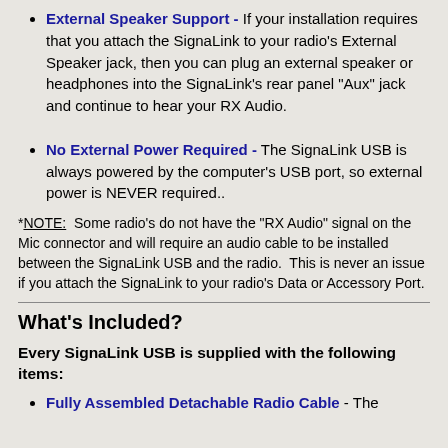External Speaker Support - If your installation requires that you attach the SignaLink to your radio's External Speaker jack, then you can plug an external speaker or headphones into the SignaLink's rear panel "Aux" jack and continue to hear your RX Audio.
No External Power Required - The SignaLink USB is always powered by the computer's USB port, so external power is NEVER required..
*NOTE: Some radio's do not have the "RX Audio" signal on the Mic connector and will require an audio cable to be installed between the SignaLink USB and the radio. This is never an issue if you attach the SignaLink to your radio's Data or Accessory Port.
What's Included?
Every SignaLink USB is supplied with the following items:
Fully Assembled Detachable Radio Cable - The